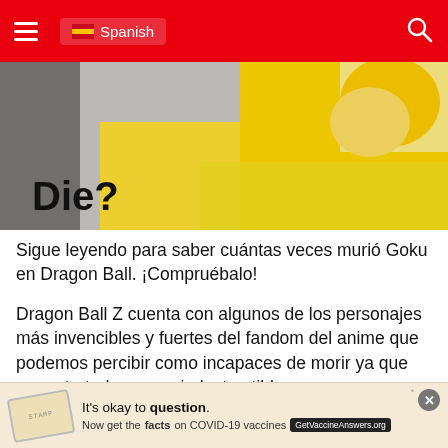Spanish
[Figure (illustration): Hero image from Dragon Ball anime with bold text 'Die?' overlaid on a yellow/gold background with an anime character]
Sigue leyendo para saber cuántas veces murió Goku en Dragon Ball. ¡Compruébalo!
Dragon Ball Z cuenta con algunos de los personajes más invencibles y fuertes del fandom del anime que podemos percibir como incapaces de morir ya que son retratados como indestructibles.
Sin embargo, no dejes que eso te engañe y pie... Ball Z
It's okay to question. Now get the facts on COVID-19 vaccines GetVaccineAnswers.org